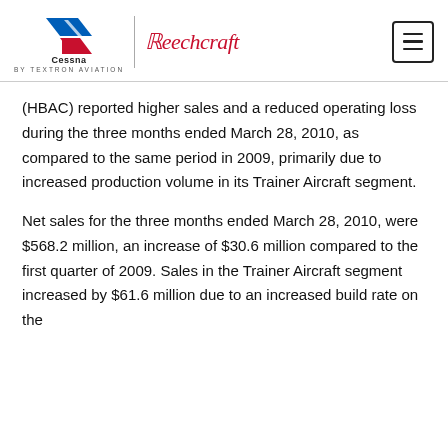Cessna | Beechcraft | BY TEXTRON AVIATION
(HBAC) reported higher sales and a reduced operating loss during the three months ended March 28, 2010, as compared to the same period in 2009, primarily due to increased production volume in its Trainer Aircraft segment.
Net sales for the three months ended March 28, 2010, were $568.2 million, an increase of $30.6 million compared to the first quarter of 2009. Sales in the Trainer Aircraft segment increased by $61.6 million due to an increased build rate on the